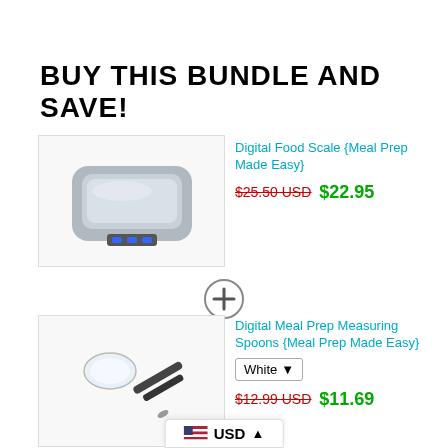BUY THIS BUNDLE AND SAVE!
[Figure (photo): Digital food scale product image]
Digital Food Scale {Meal Prep Made Easy}
$25.50 USD $22.95
[Figure (other): Plus/add circle icon]
[Figure (photo): Digital measuring spoon product image]
Digital Meal Prep Measuring Spoons {Meal Prep Made Easy}
White (dropdown)
$12.99 USD $11.69
[Figure (other): Plus/add circle icon]
Lose\Gain Weight Food Plate { Get Perfect Portions}
$7.99 USD $7.19
USD